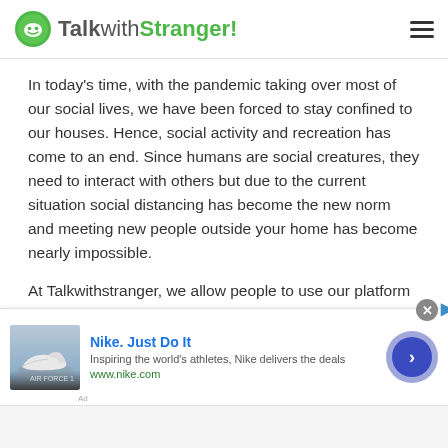TalkwithStranger!
In today's time, with the pandemic taking over most of our social lives, we have been forced to stay confined to our houses. Hence, social activity and recreation has come to an end. Since humans are social creatures, they need to interact with others but due to the current situation social distancing has become the new norm and meeting new people outside your home has become nearly impossible.
At Talkwithstranger, we allow people to use our platform and make new friends. Our private chat rooms allow you to meet outstanding individuals from all parts of the
[Figure (screenshot): Nike advertisement banner showing Nike Air Force 1 shoe image, title 'Nike. Just Do It', description 'Inspiring the world's athletes, Nike delivers the deals', URL 'www.nike.com', with a blue arrow button on the right and a close X button.]